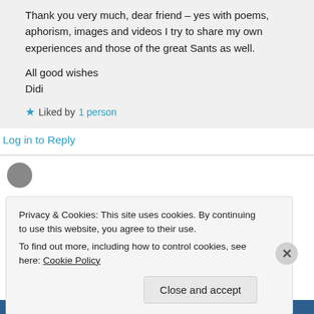Thank you very much, dear friend – yes with poems, aphorism, images and videos I try to share my own experiences and those of the great Sants as well.

All good wishes
Didi
★ Liked by 1 person
Log in to Reply
Privacy & Cookies: This site uses cookies. By continuing to use this website, you agree to their use.
To find out more, including how to control cookies, see here: Cookie Policy
Close and accept